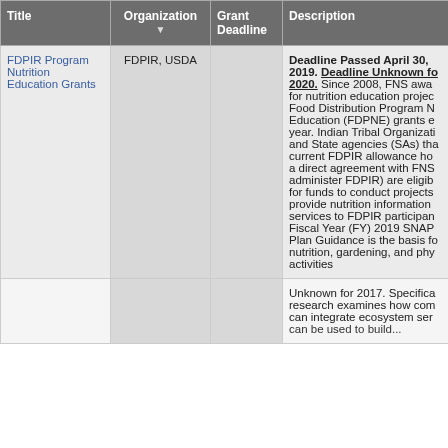| Title | Organization | Grant Deadline | Description |
| --- | --- | --- | --- |
| FDPIR Program Nutrition Education Grants | FDPIR, USDA |  | Deadline Passed April 30, 2019. Deadline Unknown for 2020. Since 2008, FNS awards for nutrition education projects Food Distribution Program Nutrition Education (FDPNE) grants each year. Indian Tribal Organizations and State agencies (SAs) that are current FDPIR allowance holders or have a direct agreement with FNS to administer FDPIR) are eligible to apply for funds to conduct projects that provide nutrition information and services to FDPIR participants. Fiscal Year (FY) 2019 SNAP-Ed Plan Guidance is the basis for nutrition, gardening, and physical activities |
|  |  |  | Unknown for 2017. Specific research examines how communities can integrate ecosystem services can be used to build... |